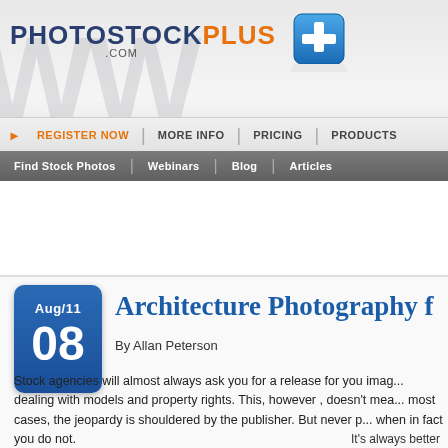[Figure (screenshot): PhotoStockPlus.com website header with logo showing PHOTOSTOCKPLUS text and blue plus icon]
REGISTER NOW | MORE INFO | PRICING | PRODUCTS
Find Stock Photos | Webinars | Blog | Articles
[Figure (screenshot): Blue banner: SELL STOCK PHOTOS - TURN YOUR PHOTOS INTO CASH [more button] | BUY S... GREAT PRI...]
Architecture Photography f
By Allan Peterson
Stock agencies will almost always ask you for a release for you imag... dealing with models and property rights. This, however , doesn't mea... most cases, the jeopardy is shouldered by the publisher. But never p... when in fact you do not.
It's always better